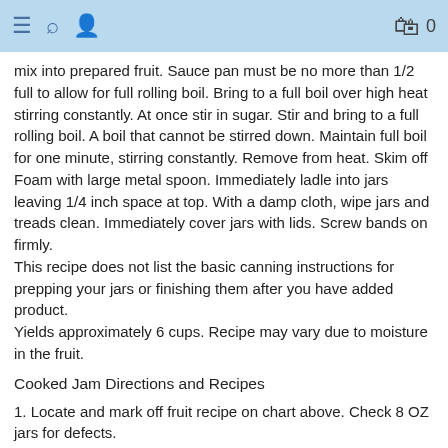≡ 🔍 👤  🛍 0
mix into prepared fruit. Sauce pan must be no more than 1/2 full to allow for full rolling boil. Bring to a full boil over high heat stirring constantly. At once stir in sugar. Stir and bring to a full rolling boil. A boil that cannot be stirred down. Maintain full boil for one minute, stirring constantly. Remove from heat. Skim off Foam with large metal spoon. Immediately ladle into jars leaving 1/4 inch space at top. With a damp cloth, wipe jars and treads clean. Immediately cover jars with lids. Screw bands on firmly.
This recipe does not list the basic canning instructions for prepping your jars or finishing them after you have added product.
Yields approximately 6 cups. Recipe may vary due to moisture in the fruit.
Cooked Jam Directions and Recipes
1. Locate and mark off fruit recipe on chart above. Check 8 OZ jars for defects.
Because containers are not filled to the rim, one more container than the specified cup yield may be needed.